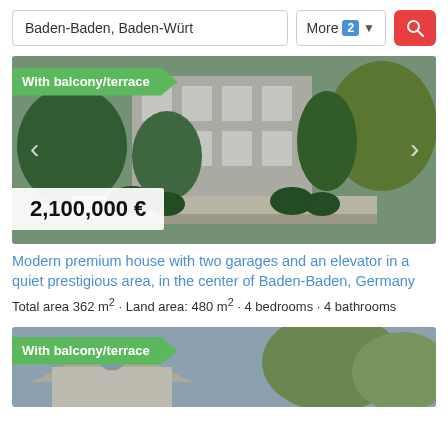[Figure (screenshot): Search bar with text 'Baden-Baden, Baden-Würt', a 'More 2' filter button, and a red search button]
[Figure (photo): Photo of a modern premium house surrounded by trees and greenery. Badge: 'With balcony/terrace'. Navigation arrows on left and right. Price overlay: 2,100,000 €]
Modern premium house with two garages and an elevator in a quiet prestigious area, in the center of Baden-Baden, Germany
Total area 362 m² · Land area: 480 m² · 4 bedrooms · 4 bathrooms
[Figure (photo): Partial photo of another house listing with badge 'With balcony/terrace']